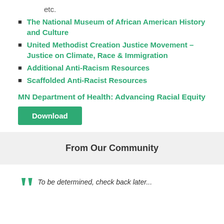etc.
The National Museum of African American History and Culture
United Methodist Creation Justice Movement – Justice on Climate, Race & Immigration
Additional Anti-Racism Resources
Scaffolded Anti-Racist Resources
MN Department of Health: Advancing Racial Equity
Download
From Our Community
To be determined, check back later...